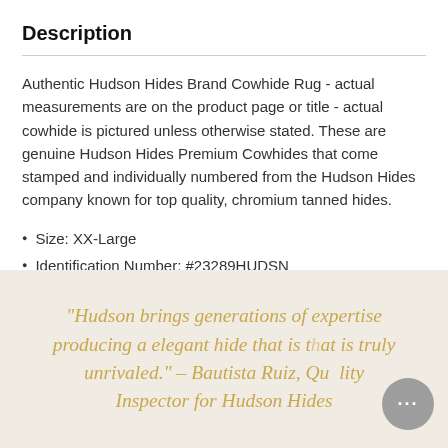Description
Authentic Hudson Hides Brand Cowhide Rug - actual measurements are on the product page or title - actual cowhide is pictured unless otherwise stated. These are genuine Hudson Hides Premium Cowhides that come stamped and individually numbered from the Hudson Hides company known for top quality, chromium tanned hides.
Size: XX-Large
Identification Number: #23289HUDSN
"Hudson brings generations of expertise producing a elegant hide that is truly unrivaled." – Bautista Ruiz, Quality Inspector for Hudson Hides